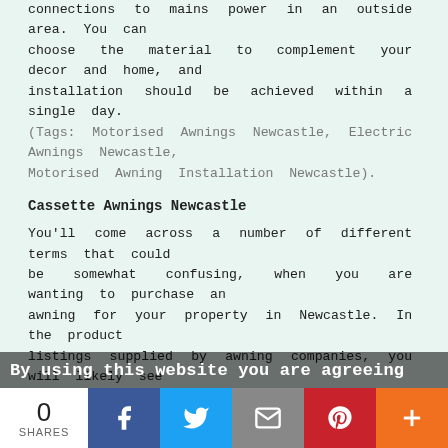connections to mains power in an outside area. You can choose the material to complement your decor and home, and installation should be achieved within a single day. (Tags: Motorised Awnings Newcastle, Electric Awnings Newcastle, Motorised Awning Installation Newcastle).
Cassette Awnings Newcastle
You'll come across a number of different terms that could be somewhat confusing, when you are wanting to purchase an awning for your property in Newcastle. In the product listings supplied by awning companies, you will likely see adverts for "half-cassette" awnings and "full-cassette" awnings. So, what precisely is a cassette awning? A cassette offers protection from the weather, dirt and dust, and is essentially a casing into which an awning folds away.
Half Cassette Awnings - A half-cassette (sometimes known as a semi-cassette) awning provides a certain amount of protection by housing the cloth component of the awning. With the cassette mounted on top of the fabric, the awning is protected from above, but usually left exposed underneath.
By using this website you are agreeing
0 SHARES